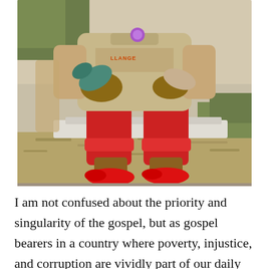[Figure (photo): A child sitting on a curb or low wall outdoors, wearing red pants rolled up at the cuffs, red shoes, a beige/khaki sweatshirt with text 'LLANGE' visible, holding what appears to be shoes or sandals. Dry grass and greenery visible in the background.]
I am not confused about the priority and singularity of the gospel, but as gospel bearers in a country where poverty, injustice, and corruption are vividly part of our daily